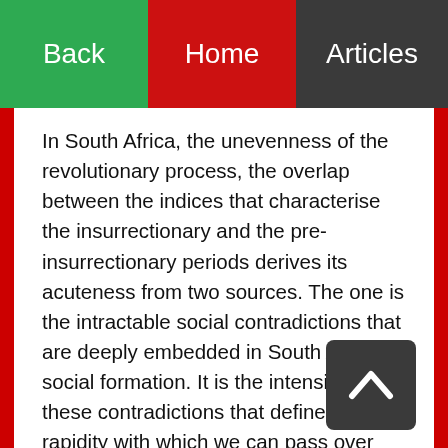Back   Home   Articles
In South Africa, the unevenness of the revolutionary process, the overlap between the indices that characterise the insurrectionary and the pre-insurrectionary periods derives its acuteness from two sources. The one is the intractable social contradictions that are deeply embedded in South Africa's social formation. It is the intensity of these contradictions that defines the rapidity with which we can pass over from the pre-insurrectionary to the insurrectionary situation. The second source of the acuteness of this unevenness is to be found in the immediate prehistory of February 1990. For although the regime inflicted serious blows on our movement, we were not routed and most certainly we suffered nothing like the defeat of the 1960s...